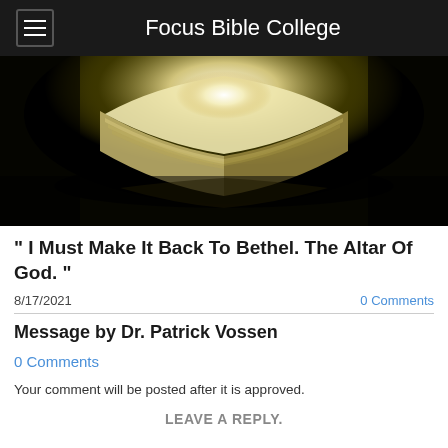Focus Bible College
[Figure (photo): An open Bible photographed from the side with glowing light emanating from the pages, set against a dark background with a golden-green tint.]
" I Must Make It Back To Bethel. The Altar Of God. "
8/17/2021
0 Comments
Message by Dr. Patrick Vossen
0 Comments
Your comment will be posted after it is approved.
LEAVE A REPLY.